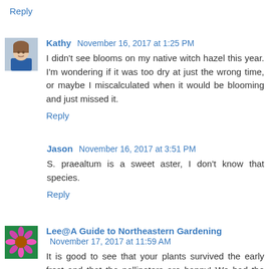Reply
Kathy  November 16, 2017 at 1:25 PM
I didn't see blooms on my native witch hazel this year. I'm wondering if it was too dry at just the wrong time, or maybe I miscalculated when it would be blooming and just missed it.
Reply
Jason  November 16, 2017 at 3:51 PM
S. praealtum is a sweet aster, I don't know that species.
Reply
Lee@A Guide to Northeastern Gardening  November 17, 2017 at 11:59 AM
It is good to see that your plants survived the early frost and that the pollinators are happy! We had the same frost